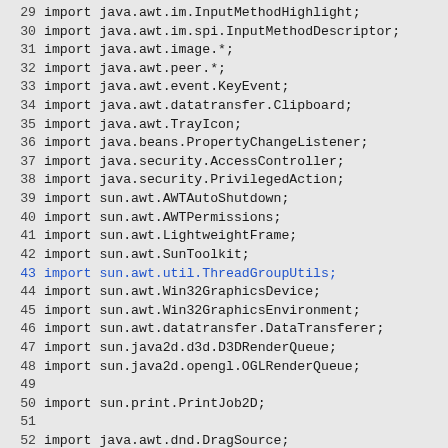29 import java.awt.im.InputMethodHighlight;
30 import java.awt.im.spi.InputMethodDescriptor;
31 import java.awt.image.*;
32 import java.awt.peer.*;
33 import java.awt.event.KeyEvent;
34 import java.awt.datatransfer.Clipboard;
35 import java.awt.TrayIcon;
36 import java.beans.PropertyChangeListener;
37 import java.security.AccessController;
38 import java.security.PrivilegedAction;
39 import sun.awt.AWTAutoShutdown;
40 import sun.awt.AWTPermissions;
41 import sun.awt.LightweightFrame;
42 import sun.awt.SunToolkit;
43 import sun.awt.util.ThreadGroupUtils;
44 import sun.awt.Win32GraphicsDevice;
45 import sun.awt.Win32GraphicsEnvironment;
46 import sun.awt.datatransfer.DataTransferer;
47 import sun.java2d.d3d.D3DRenderQueue;
48 import sun.java2d.opengl.OGLRenderQueue;
49 
50 import sun.print.PrintJob2D;
51 
52 import java.awt.dnd.DragSource;
53 import java.awt.dnd.DragGestureListener;
54 import java.awt.dnd.DragGestureEvent;
55 import java.awt.dnd.DragGestureRecognizer;
56 import java.awt.dnd.MouseDragGestureRecognizer;
57 import java.awt.dnd.InvalidDnDOperationException;
58 import java.awt.dnd.peer.DragSourceContextPeer;